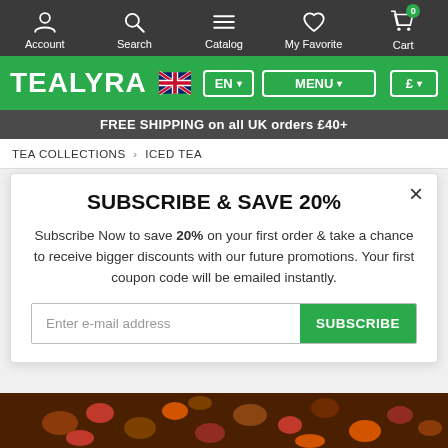[Figure (screenshot): Website navigation bar with icons for Account, Search, Catalog, My Favorite, Cart on dark background]
[Figure (logo): TEALYRA logo in white on green background with UK flag, EN and MENU dropdowns, and £ currency selector]
FREE SHIPPING on all UK orders £40+
TEA COLLECTIONS › ICED TEA
SUBSCRIBE & SAVE 20%
Subscribe Now to save 20% on your first order & take a chance to receive bigger discounts with our future promotions. Your first coupon code will be emailed instantly.
[Figure (photo): Dried fruit and herbal tea mix at bottom of page]